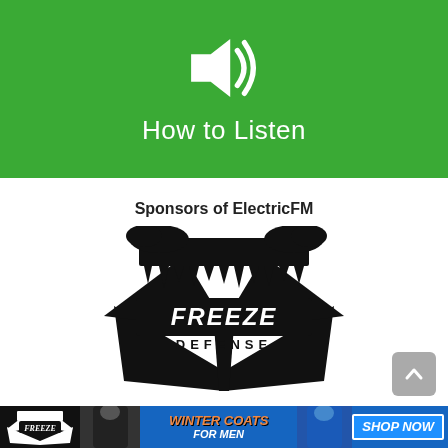[Figure (other): Green banner with a white speaker/volume icon and 'How to Listen' text in white below it]
Sponsors of ElectricFM
[Figure (logo): Freeze Defense brand logo — bold black lightning bolt / shield shape with icicles on top and 'FREEZE DEFENSE' text in the center]
[Figure (other): Advertisement banner for Freeze Defense: logo on left, two men in winter coats, text 'WINTER COATS FOR MEN' in orange/white, 'SHOP NOW' button in blue on right]